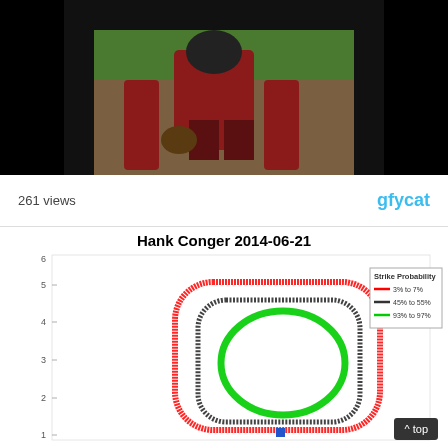[Figure (photo): Baseball catcher crouching behind home plate, sports action photo]
261 views
gfycat
Hank Conger 2014-06-21
[Figure (continuous-plot): Strike probability contour plot showing three concentric rounded-rectangle contour rings: red (3% to 7%), black (45% to 55%), and green (93% to 97%) strike probability zones. A blue square marker is at the bottom center.]
^ top